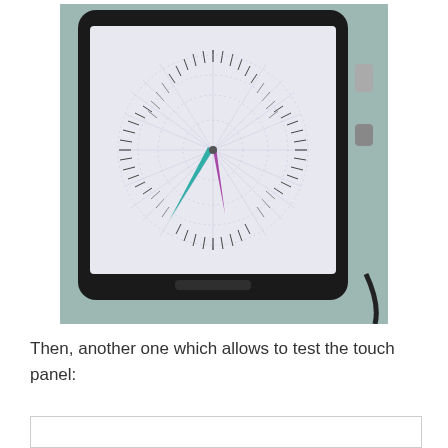[Figure (photo): A tablet device mounted on a stand displaying a compass/dial test application. The screen shows a circular gauge with tick marks around the perimeter and a colorful pointer (blue, teal, and purple) pointing roughly at the 7-8 o'clock position. The tablet has a dark frame and visible cables/connectors on the right side.]
Then, another one which allows to test the touch panel: